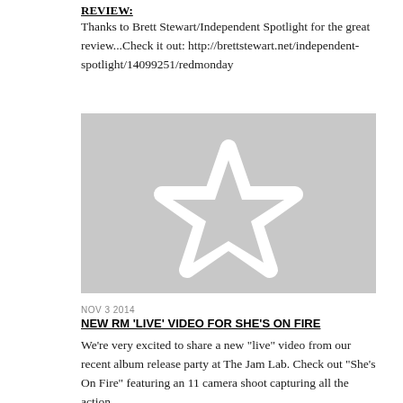REVIEW:
Thanks to Brett Stewart/Independent Spotlight for the great review...Check it out: http://brettstewart.net/independent-spotlight/14099251/redmonday
[Figure (illustration): Gray rectangle placeholder image with a white outlined star in the center]
NOV 3 2014
NEW RM 'LIVE' VIDEO FOR SHE'S ON FIRE
We're very excited to share a new "live" video from our recent album release party at The Jam Lab.  Check out "She's On Fire" featuring an 11 camera shoot capturing all the action...